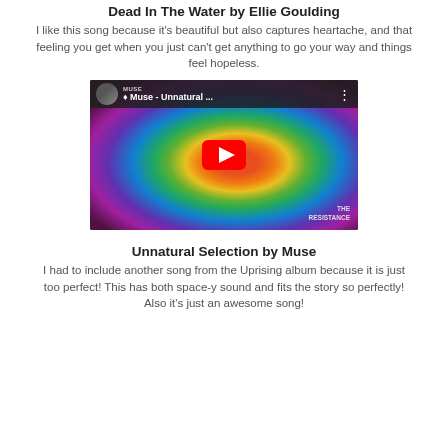Dead In The Water by Ellie Goulding
I like this song because it's beautiful but also captures heartache, and that feeling you get when you just can't get anything to go your way and things feel hopeless.
[Figure (screenshot): YouTube video thumbnail for Muse - Unnatural Selection, showing colorful geometric sphere (The Resistance album art) with red YouTube play button, video title bar at top with MUSE channel tag and avatar]
Unnatural Selection by Muse
I had to include another song from the Uprising album because it is just too perfect! This has both space-y sound and fits the story so perfectly! Also it's just an awesome song!